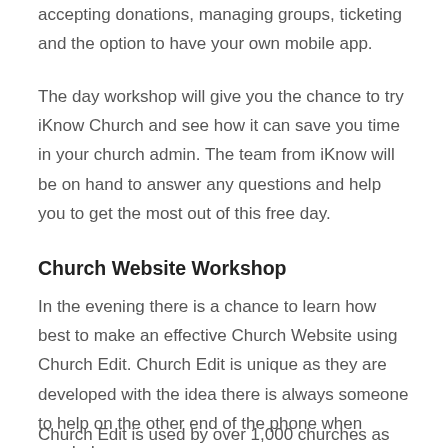accepting donations, managing groups, ticketing and the option to have your own mobile app.
The day workshop will give you the chance to try iKnow Church and see how it can save you time in your church admin. The team from iKnow will be on hand to answer any questions and help you to get the most out of this free day.
Church Website Workshop
In the evening there is a chance to learn how best to make an effective Church Website using Church Edit. Church Edit is unique as they are developed with the idea there is always someone to help on the other end of the phone when needed.
Church Edit is used by over 1,000 churches as an easy way to create an effective website. There are lots of features including